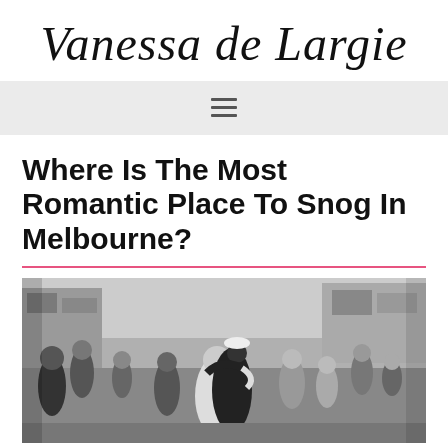Vanessa de Largie
Where Is The Most Romantic Place To Snog In Melbourne?
[Figure (photo): Black and white photograph of the iconic V-J Day kiss in Times Square, showing a sailor kissing a woman in a white dress while surrounded by a crowd of people celebrating.]